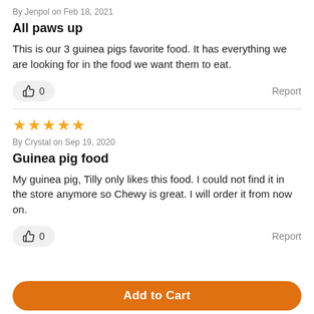By Jenpol on Feb 18, 2021
All paws up
This is our 3 guinea pigs favorite food. It has everything we are looking for in the food we want them to eat.
👍 0   Report
★★★★★
By Crystal on Sep 19, 2020
Guinea pig food
My guinea pig, Tilly only likes this food. I could not find it in the store anymore so Chewy is great. I will order it from now on.
👍 0   Report
Add to Cart